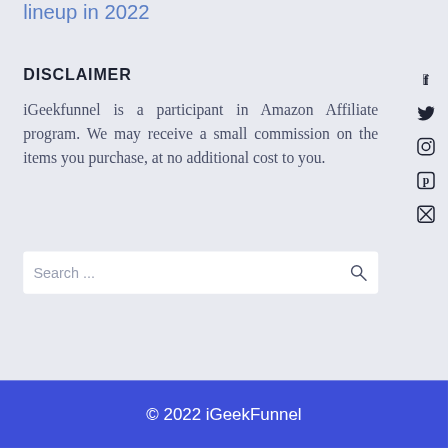lineup in 2022
DISCLAIMER
iGeekfunnel is a participant in Amazon Affiliate program. We may receive a small commission on the items you purchase, at no additional cost to you.
Search ...
© 2022 iGeekFunnel